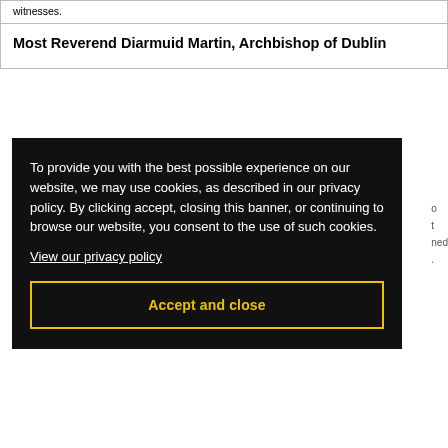witnesses.
Most Reverend Diarmuid Martin, Archbishop of Dublin
To provide you with the best possible experience on our website, we may use cookies, as described in our privacy policy. By clicking accept, closing this banner, or continuing to browse our website, you consent to the use of such cookies.
View our privacy policy
Accept and close